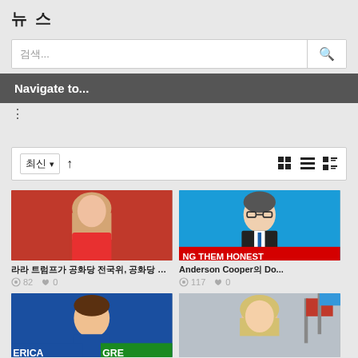뉴스
검색...
Navigate to...
⋮
최신 ▾ ↑ 보기옵션
[Figure (photo): Woman with long blonde hair in red outfit speaking at event]
라라 트럼프 공화당 전국위, 공화당 전국 위원회 위원 선출 이 다...
82 views 0 likes
[Figure (photo): Anderson Cooper on CNN news broadcast with 'ING THEM HONEST' lower third]
Anderson Cooper의 Do...
117 views 0 likes
[Figure (photo): Man in blue jacket at campaign rally with AMERICA GREAT sign]
[Figure (photo): Blonde woman speaking at event with American flags in background]